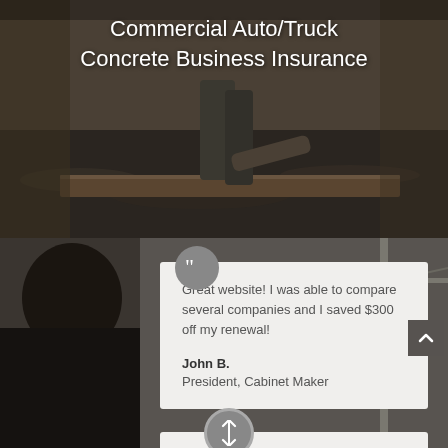[Figure (photo): Construction/concrete work site background image with workers handling wooden boards on gravel/concrete surface]
Commercial Auto/Truck
Concrete Business Insurance
[Figure (photo): Dark background with person silhouette on left side, quote card with testimonial in center-right area]
Great website! I was able to compare several companies and I saved $300 off my renewal!
John B.
President, Cabinet Maker